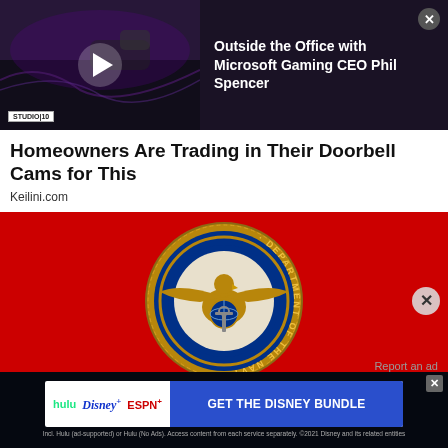[Figure (screenshot): Video ad thumbnail showing a dark gaming scene with a play button, Studio 10 badge, and video title 'Outside the Office with Microsoft Gaming CEO Phil Spencer']
Homeowners Are Trading in Their Doorbell Cams for This
Keilini.com
[Figure (photo): Department of the Navy seal/logo on a red background - circular blue and gold emblem with eagle and anchor]
Report an ad
[Figure (screenshot): Disney Bundle advertisement banner showing Hulu, Disney+, ESPN+ logos with 'GET THE DISNEY BUNDLE' call to action button]